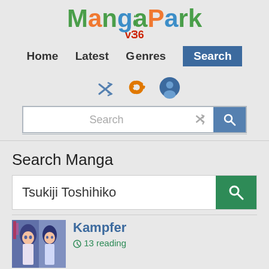[Figure (logo): MangaPark colorful logo with v36 subtitle]
Home  Latest  Genres  Search
[Figure (screenshot): Icon row with shuffle, settings gear, and user account icons]
[Figure (screenshot): Search bar with shuffle icon and search button]
Search Manga
Tsukiji Toshihiko
Kampfer
13 reading